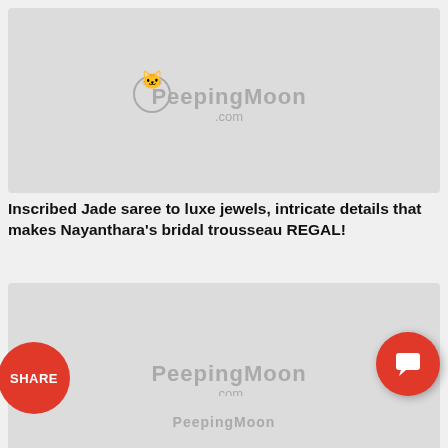[Figure (screenshot): PeepingMoon.com watermark logo on grey background - article thumbnail image]
Inscribed Jade saree to luxe jewels, intricate details that makes Nayanthara's bridal trousseau REGAL!
[Figure (screenshot): PeepingMoon.com watermark logo on grey background - article thumbnail image with SHARE button overlay]
Rasario's 'sunshine' to Robert Wun's 'dramatic dove,' Priyanka Chopra Jonas makes for a 'Parisian dream' for Bulgari's event!
[Figure (screenshot): PeepingMoon.com watermark logo on grey background - partial article thumbnail image]